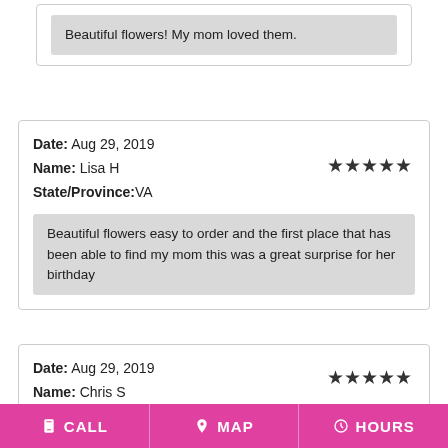Beautiful flowers! My mom loved them.
Date: Aug 29, 2019
Name: Lisa H
State/Province:VA
Beautiful flowers easy to order and the first place that has been able to find my mom this was a great surprise for her birthday
Date: Aug 29, 2019
Name: Chris S
CALL   MAP   HOURS